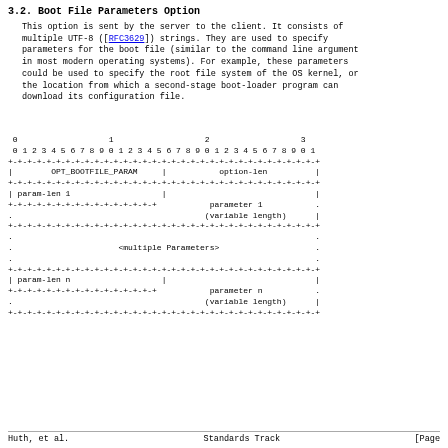3.2. Boot File Parameters Option
This option is sent by the server to the client. It consists of multiple UTF-8 ([RFC3629]) strings. They are used to specify parameters for the boot file (similar to the command line arguments in most modern operating systems). For example, these parameters could be used to specify the root file system of the OS kernel, or the location from which a second-stage boot-loader program can download its configuration file.
[Figure (schematic): Packet format diagram showing bit layout for Boot File Parameters Option. Fields: OPT_BOOTFILE_PARAM and option-len in first row, param-len 1 and start of parameter 1 (variable length) in second row, <multiple Parameters> placeholder row, param-len n and parameter n (variable length) in final rows.]
Huth, et al.                    Standards Track                        [Page